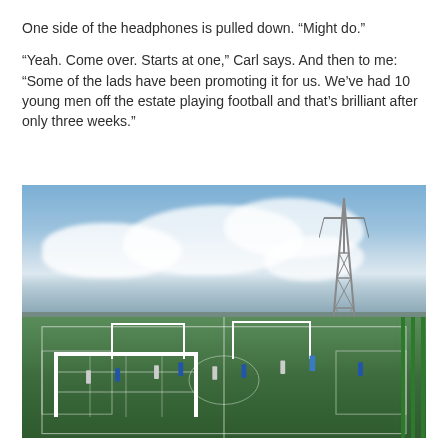One side of the headphones is pulled down. “Might do.”
“Yeah. Come over. Starts at one,” Carl says. And then to me: “Some of the lads have been promoting it for us. We’ve had 10 young men off the estate playing football and that’s brilliant after only three weeks.”
[Figure (photo): Outdoor football pitch with artificial green turf, white goal posts in foreground and background, green mesh fencing, players on the pitch, a large electricity pylon in the background right, cloudy sky with blue patches, distant hills on the horizon.]